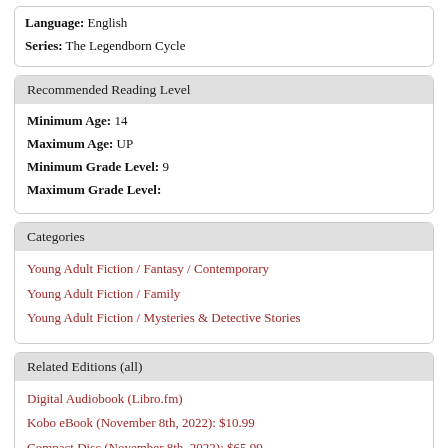Language: English
Series: The Legendborn Cycle
Recommended Reading Level
Minimum Age: 14
Maximum Age: UP
Minimum Grade Level: 9
Maximum Grade Level:
Categories
Young Adult Fiction / Fantasy / Contemporary
Young Adult Fiction / Family
Young Adult Fiction / Mysteries & Detective Stories
Related Editions (all)
Digital Audiobook (Libro.fm)
Kobo eBook (November 8th, 2022): $10.99
Compact Disc (November 8th, 2022): $65.99